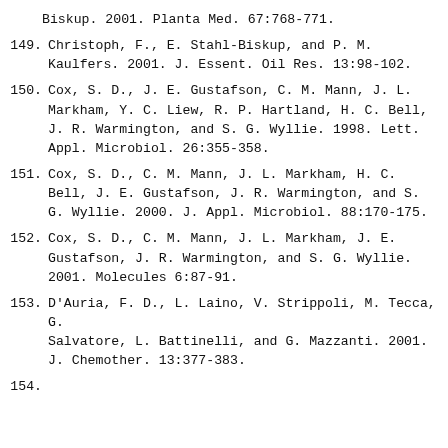Biskup. 2001.  Planta Med. 67:768-771.
149. Christoph, F., E. Stahl-Biskup, and P. M. Kaulfers. 2001.  J. Essent. Oil Res. 13:98-102.
150. Cox, S. D., J. E. Gustafson, C. M. Mann, J. L. Markham, Y. C. Liew, R. P. Hartland, H. C. Bell, J. R. Warmington, and S. G. Wyllie. 1998.  Lett. Appl. Microbiol. 26:355-358.
151. Cox, S. D., C. M. Mann, J. L. Markham, H. C. Bell, J. E. Gustafson, J. R. Warmington, and S. G. Wyllie. 2000. J. Appl. Microbiol. 88:170-175.
152. Cox, S. D., C. M. Mann, J. L. Markham, J. E. Gustafson, J. R. Warmington, and S. G. Wyllie. 2001.  Molecules 6:87-91.
153. D'Auria, F. D., L. Laino, V. Strippoli, M. Tecca, G. Salvatore, L. Battinelli, and G. Mazzanti. 2001. J. Chemother. 13:377-383.
154. ...